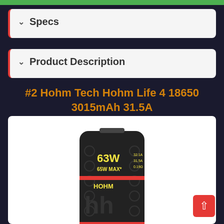Specs
Product Description
#2 Hohm Tech Hohm Life 4 18650 3015mAh 31.5A
[Figure (photo): Hohm Tech Hohm Life 4 18650 battery with black wrap showing 63W rating and HOHM branding with yellow and red accents]